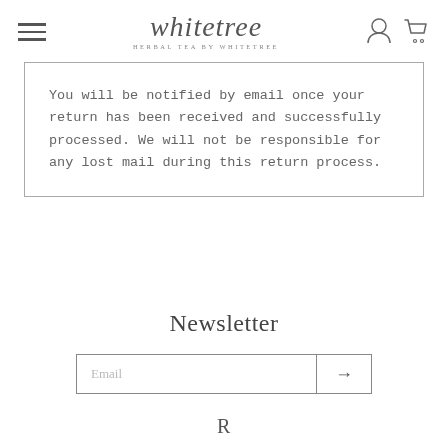whitetree — HERBAL TEA BY WHITETREE
You will be notified by email once your return has been received and successfully processed. We will not be responsible for any lost mail during this return process.
Newsletter
Email